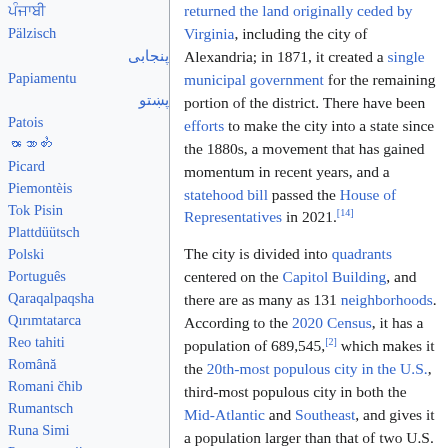ਪੰਜਾਬੀ (Pälzisch, پنجابی, Papiamentu, پښتو, Patois, ၽာသာတႆး, Picard, Piemontèis, Tok Pisin, Plattdüütsch, Polski, Português, Qaraqalpaqsha, Qırımtatarca, Reo tahiti, Română, Romani čhib, Rumantsch, Runa Simi, Русиньскый, ★ Русский, Саха тыла)
returned the land originally ceded by Virginia, including the city of Alexandria; in 1871, it created a single municipal government for the remaining portion of the district. There have been efforts to make the city into a state since the 1880s, a movement that has gained momentum in recent years, and a statehood bill passed the House of Representatives in 2021.[14]
The city is divided into quadrants centered on the Capitol Building, and there are as many as 131 neighborhoods. According to the 2020 Census, it has a population of 689,545,[2] which makes it the 20th-most populous city in the U.S., third-most populous city in both the Mid-Atlantic and Southeast, and gives it a population larger than that of two U.S. states: